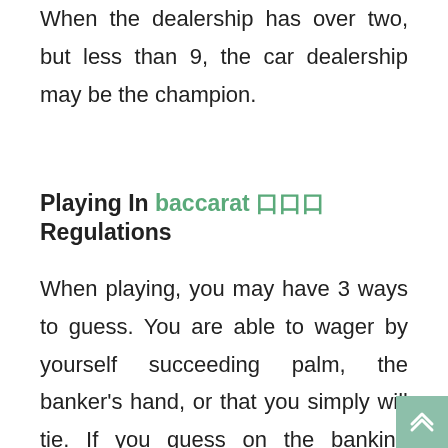When the dealership has over two, but less than 9, the car dealership may be the champion.
Playing In baccarat 바카라 Regulations
When playing, you may have 3 ways to guess. You are able to wager by yourself succeeding palm, the banker's hand, or that you simply will tie. If you guess on the banking institution, it is likely that you will be incurred a percentage amount of 5Percent, the reason being it